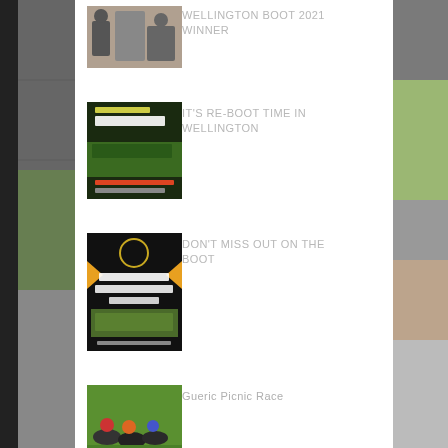[Figure (photo): Photo of people at a horse racing event — Wellington Boot 2021 Winner thumbnail]
Wellington Boot 2021 Winner
[Figure (photo): Wellington Boot promotional poster with horses racing — 2021 Rawnsley Hill Wellington Boot, Saturday 27 March & Sunday 28 March]
IT'S RE-BOOT TIME IN WELLINGTON
[Figure (photo): Wellington Races 2020-21 poster with orange chevrons and horses racing. Tickets available Boxing Day – Wellington Boot, www.123tix.com.au]
DON'T MISS OUT ON THE BOOT
[Figure (photo): Jockeys racing on horses at a picnic race event]
Gueric Picnic Race
Archive